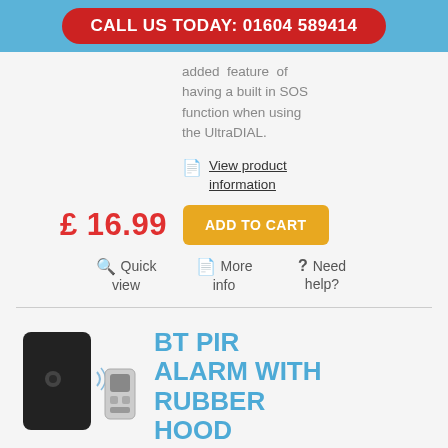CALL US TODAY: 01604 589414
added feature of having a built in SOS function when using the UltraDIAL.
View product information
£ 16.99
ADD TO CART
Quick view
More info
Need help?
[Figure (photo): BT PIR alarm device (black wall unit) with small wireless keyfob remote]
BT PIR ALARM WITH RUBBER HOOD
Reference: 007-1410